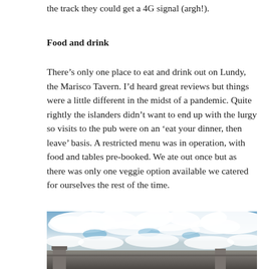the track they could get a 4G signal (argh!).
Food and drink
There’s only one place to eat and drink out on Lundy, the Marisco Tavern. I’d heard great reviews but things were a little different in the midst of a pandemic. Quite rightly the islanders didn’t want to end up with the lurgy so visits to the pub were on an ‘eat your dinner, then leave’ basis. A restricted menu was in operation, with food and tables pre-booked. We ate out once but as there was only one veggie option available we catered for ourselves the rest of the time.
[Figure (photo): Photograph showing a stone building or structure with a large cloudy sky, blue sky visible between white clouds, taken on Lundy island.]